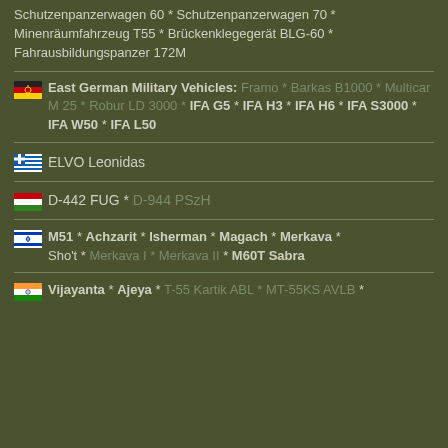Schutzenpanzerwagen 60 * Schutzenpanzerwagen 70 * Minenräumfahrzeug T55 * Brückenklegegerät BLG-60 * Fahrausbildungspanzer 172M
East German Military Vehicles: Framo * Barkas B1000 * Multicar M 25 * Robur LD 3000 * IFA G5 * IFA H3 * IFA H6 * IFA S3000 * IFA W50 * IFA L50
ELVO Leonidas
D-442 FUG * D-944 PSzH
M51 * Achzarit * Isherman * Magach * Merkava * Sho't * Merkava I * Merkava II * M60T Sabra
Vijayanta * Ajeya * T-55 Kartik ABL * MT-55KS AVLB *